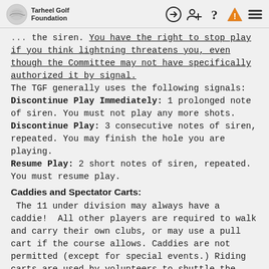Tarheel Golf Foundation [navigation icons]
the siren. You have the right to stop play if you think lightning threatens you, even though the Committee may not have specifically authorized it by signal.
The TGF generally uses the following signals:
Discontinue Play Immediately: 1 prolonged note of siren. You must not play any more shots.
Discontinue Play: 3 consecutive notes of siren, repeated. You may finish the hole you are playing.
Resume Play: 2 short notes of siren, repeated. You must resume play.
Caddies and Spectator Carts:
The 11 under division may always have a caddie!  All other players are required to walk and carry their own clubs, or may use a pull cart if the course allows. Caddies are not permitted (except for special events.) Riding carts are used by volunteers to shuttle the players from greens to tees when deemed appropriate by the committee, transport beverages, control speed of play. Spectators